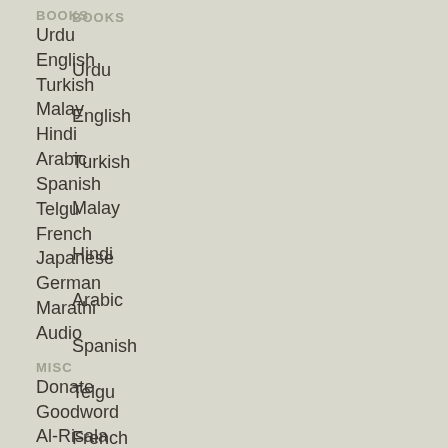BOOKS
Urdu
English
Turkish
Malay
Hindi
Arabic
Spanish
Telgu
French
Japanese
German
Marathi
Audio
MISC
Donate
Goodword
Al-Risala
Sitemap
Login
Terms of Use